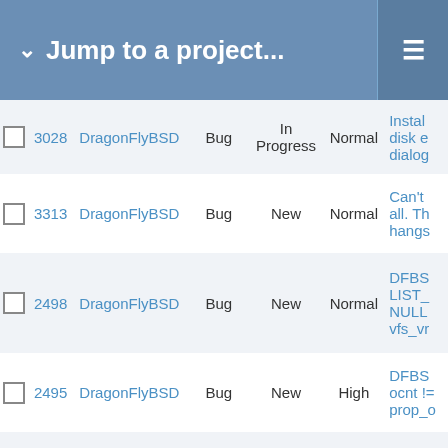Jump to a project...
|  | # | Project | Type | Status | Priority | Subject |
| --- | --- | --- | --- | --- | --- | --- |
|  | 3028 | DragonFlyBSD | Bug | In Progress | Normal | Install disk e dialog |
|  | 3313 | DragonFlyBSD | Bug | New | Normal | Can't all. Th hangs |
|  | 2498 | DragonFlyBSD | Bug | New | Normal | DFBS LIST_ NULL vfs_vr |
|  | 2495 | DragonFlyBSD | Bug | New | High | DFBS ocnt != prop_o |
|  | 2122 | DragonFlyBSD | Submit | New | Normal | [Revie |
|  | 1876 | DragonFlyBSD | Bug | New | Normal | devfs conso |
|  | 2042 | DragonFlyBSD | Bug | New | Normal | kernel boot0r |
|  | 1975 | DragonFlyBSD | Bug | New | Normal | Applic select |
|  | 243 | DragonFlyBSD | Bug | Feedback | Normal | weird |
|  | 1982 | DragonFlyBSD | Bug | New | Low | There 64 |